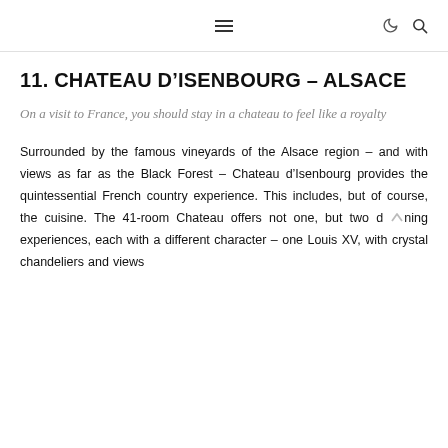≡ ☾ 🔍
11. CHATEAU D'ISENBOURG – ALSACE
On a visit to France, you should stay in a chateau to feel like a royalty
Surrounded by the famous vineyards of the Alsace region – and with views as far as the Black Forest – Chateau d'Isenbourg provides the quintessential French country experience. This includes, but of course, the cuisine. The 41-room Chateau offers not one, but two dining experiences, each with a different character – one Louis XV, with crystal chandeliers and views